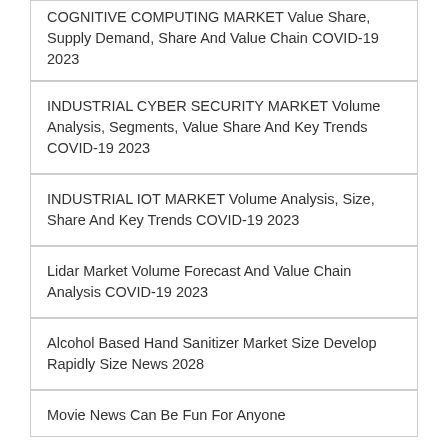COGNITIVE COMPUTING MARKET Value Share, Supply Demand, Share And Value Chain COVID-19 2023
INDUSTRIAL CYBER SECURITY MARKET Volume Analysis, Segments, Value Share And Key Trends COVID-19 2023
INDUSTRIAL IOT MARKET Volume Analysis, Size, Share And Key Trends COVID-19 2023
Lidar Market Volume Forecast And Value Chain Analysis COVID-19 2023
Alcohol Based Hand Sanitizer Market Size Develop Rapidly Size News 2028
Movie News Can Be Fun For Anyone